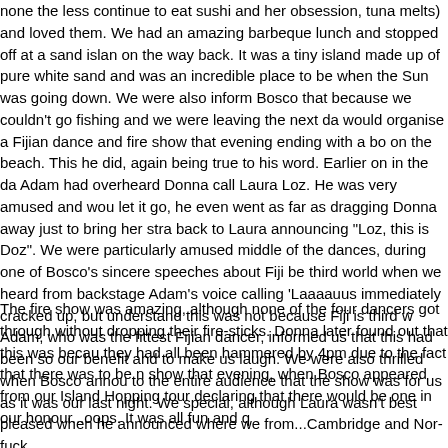none the less continue to eat sushi and her obsession, tuna melts) and loved them. We had an amazing barbeque lunch and stopped off at a sand island on the way back. It was a tiny island made up of pure white sand and was an incredible place to be when the Sun was going down. We were also informed by Bosco that because we couldn't go fishing and we were leaving the next day he would organise a Fijian dance and fire show that evening ending with a bonfire on the beach. This he did, again being true to his word. Earlier on in the day, Adam had overheard Donna call Laura Loz. He was very amused and wouldn't let it go, he even went as far as dragging Donna away just to bring her straight back to Laura announcing "Loz, this is Doz". We were particularly amused in the middle of the dances, during one of Bosco's sincere speeches about Fiji being third world when we heard from backstage Adam's voice calling 'Laaaauus'. We immediately cracked up, but understand this was not because Fiji is third world. Adam, who was the fittest Fijian dancer, informed us that this had been solely for our benefit and to make us laugh. We were also thrilled when Bosco announced to the entire audience that the show was for us as it was our last night. We felt special, although Laura wasn't best pleased when he announced where we were from...Cambridge and Nor-fuck.
The fire show was amazing, although none of the four dancers got through it without dropping their fire-sticks. Donna later found out that this was because they had all been hammered by 4pm due to the fact that there was to be no show that evening, when Bosco appeared from our Island Hopping tour declaring that there would be one in our honour...oops. It was all fun and q